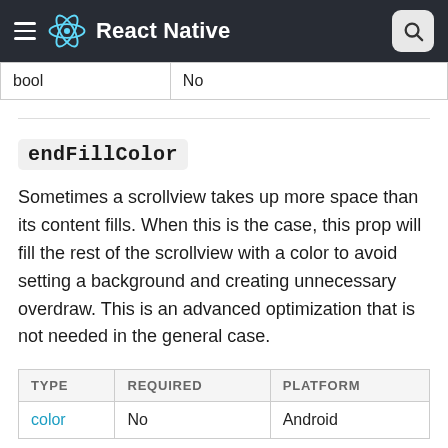React Native
| TYPE | REQUIRED |
| --- | --- |
| bool | No |
endFillColor
Sometimes a scrollview takes up more space than its content fills. When this is the case, this prop will fill the rest of the scrollview with a color to avoid setting a background and creating unnecessary overdraw. This is an advanced optimization that is not needed in the general case.
| TYPE | REQUIRED | PLATFORM |
| --- | --- | --- |
| color | No | Android |